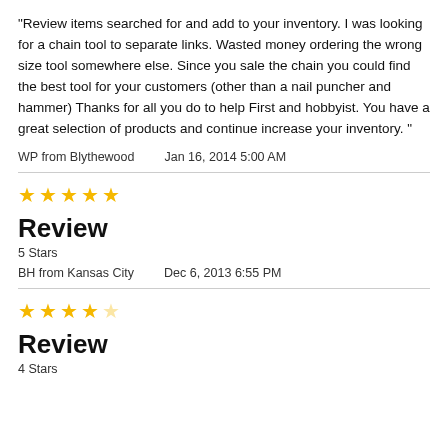"Review items searched for and add to your inventory. I was looking for a chain tool to separate links. Wasted money ordering the wrong size tool somewhere else. Since you sale the chain you could find the best tool for your customers (other than a nail puncher and hammer) Thanks for all you do to help First and hobbyist. You have a great selection of products and continue increase your inventory. "
WP from Blythewood    Jan 16, 2014 5:00 AM
[Figure (other): 5 gold stars rating]
Review
5 Stars
BH from Kansas City    Dec 6, 2013 6:55 PM
[Figure (other): 4 gold stars rating (4 filled, 1 empty)]
Review
4 Stars